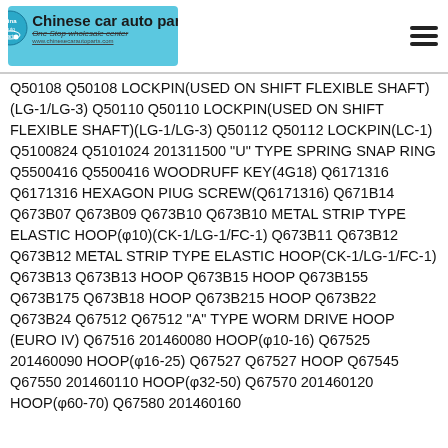Chinese car auto parts — One Stop wholesale center
Q50108 Q50108 LOCKPIN(USED ON SHIFT FLEXIBLE SHAFT)(LG-1/LG-3) Q50110 Q50110 LOCKPIN(USED ON SHIFT FLEXIBLE SHAFT)(LG-1/LG-3) Q50112 Q50112 LOCKPIN(LC-1) Q5100824 Q5101024 201311500 "U" TYPE SPRING SNAP RING Q5500416 Q5500416 WOODRUFF KEY(4G18) Q6171316 Q6171316 HEXAGON PIUG SCREW(Q6171316) Q671B14 Q673B07 Q673B09 Q673B10 Q673B10 METAL STRIP TYPE ELASTIC HOOP(φ10)(CK-1/LG-1/FC-1) Q673B11 Q673B12 Q673B12 METAL STRIP TYPE ELASTIC HOOP(CK-1/LG-1/FC-1) Q673B13 Q673B13 HOOP Q673B15 HOOP Q673B155 Q673B175 Q673B18 HOOP Q673B215 HOOP Q673B22 Q673B24 Q67512 Q67512 "A" TYPE WORM DRIVE HOOP (EURO IV) Q67516 201460080 HOOP(φ10-16) Q67525 201460090 HOOP(φ16-25) Q67527 Q67527 HOOP Q67545 Q67550 201460110 HOOP(φ32-50) Q67570 201460120 HOOP(φ60-70) Q67580 201460160